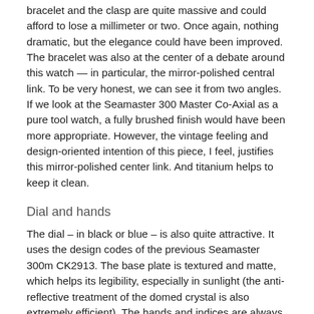bracelet and the clasp are quite massive and could afford to lose a millimeter or two. Once again, nothing dramatic, but the elegance could have been improved. The bracelet was also at the center of a debate around this watch — in particular, the mirror-polished central link. To be very honest, we can see it from two angles. If we look at the Seamaster 300 Master Co-Axial as a pure tool watch, a fully brushed finish would have been more appropriate. However, the vintage feeling and design-oriented intention of this piece, I feel, justifies this mirror-polished center link. And titanium helps to keep it clean.
Dial and hands
The dial – in black or blue – is also quite attractive. It uses the design codes of the previous Seamaster 300m CK2913. The base plate is textured and matte, which helps its legibility, especially in sunlight (the anti-reflective treatment of the domed crystal is also extremely efficient). The hands and indices are always easy to read thanks to their contrast with this matte finish. The hands are typically Omega, with the broad-arrow shape: a